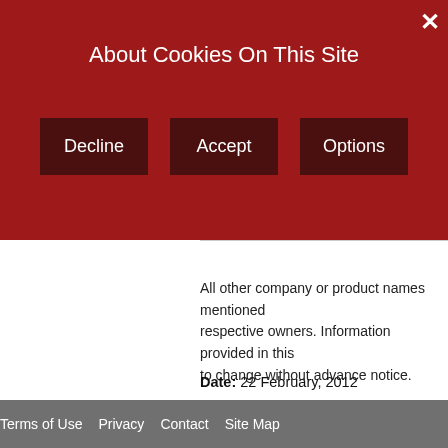About Cookies On This Site
Decline
Accept
Options
All other company or product names mentioned respective owners. Information provided in this to change without advance notice.
Date: 22 February, 2012
City: Tokyo
Company: Fujitsu Limited, . . . . . . . . . .
Terms of Use   Privacy   Contact   Site Map